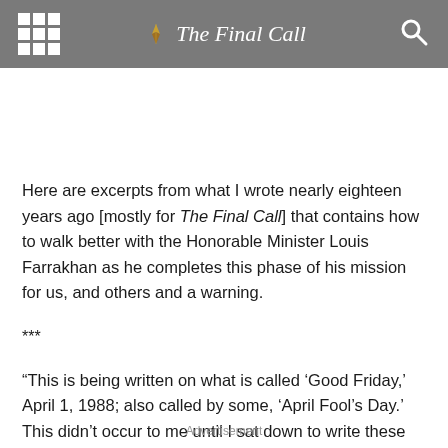The Final Call
Here are excerpts from what I wrote nearly eighteen years ago [mostly for The Final Call] that contains how to walk better with the Honorable Minister Louis Farrakhan as he completes this phase of his mission for us, and others and a warning.
***
“This is being written on what is called ‘Good Friday,’ April 1, 1988; also called by some, ‘April Fool’s Day.’ This didn’t occur to me until I sat down to write these words.
Advertisement